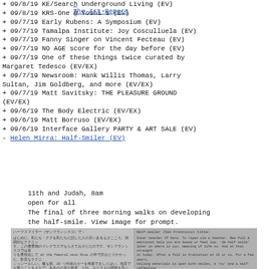+ 09/8/19 KE/Search Underground Living (EV)
+ 09/8/19 KRS-One @ Yoshi's (EV)
+ 09/7/19 Early Rubens: A Symposium (EV)
+ 09/7/19 Tamalpa Institute: Joy Cosculluela (EV)
+ 09/7/19 Fanny Singer on Vincent Fecteau (EV)
+ 09/7/19 NO AGE score for the day before (EV)
+ 09/7/19 One of these things twice curated by Margaret Tedesco (EV/EX)
+ 09/7/19 Newsroom: Hank Willis Thomas, Larry Sultan, Jim Goldberg, and more (EV/EX)
+ 09/7/19 Matt Savitsky: THE PLEASURE GROUND (EV/EX)
+ 09/6/19 The Body Electric (EV/EX)
+ 09/6/19 Matt Borruso (EV/EX)
+ 09/6/19 Interface Gallery PARTY & ART SALE (EV)
- Helen Mirra: Half-Smiler (EV)
11th and Judah, 8am
open for all
The final of three morning walks on developing the half-smile. View image for prompt.
[Figure (photo): Grayscale photograph or scan of a bilingual document with Japanese text on the left column and English text on the right column, appearing to describe the concept of a half-smile.]